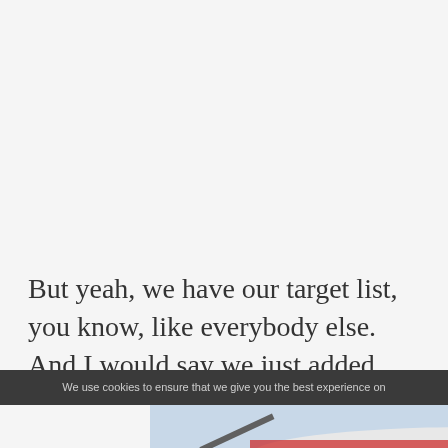But yeah, we have our target list, you know, like everybody else. And I would say we just added
We use cookies to ensure that we give you the best experience on
[Figure (photo): Advertisement banner showing an aircraft being loaded with cargo, with text 'WITHOUT REGARD TO POLITICS, RELIGION OR ABILITY TO PAY' on a blue-grey background on the right side]